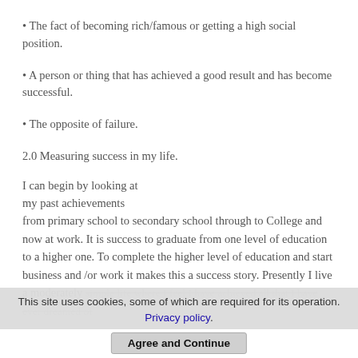• The fact of becoming rich/famous or getting a high social position.
• A person or thing that has achieved a good result and has become successful.
• The opposite of failure.
2.0 Measuring success in my life.
I can begin by looking at my past achievements from primary school to secondary school through to College and now at work. It is success to graduate from one level of education to a higher one. To complete the higher level of education and start business and /or work it makes this a success story. Presently I live a moderately simple life where I feel I have achieved all that I have ever dreamed of
This site uses cookies, some of which are required for its operation. Privacy policy.